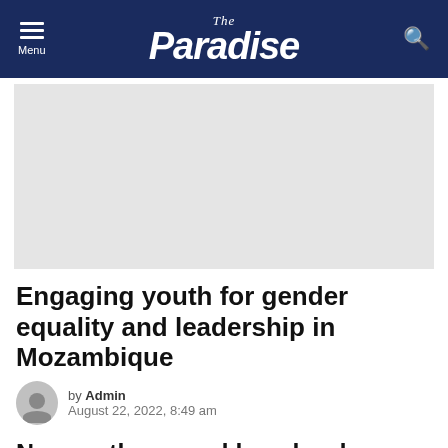The Paradise
[Figure (photo): Gray rectangular image placeholder (advertisement or article image)]
Engaging youth for gender equality and leadership in Mozambique
by Admin
August 22, 2022, 8:49 am
Newcastle proved how hard Premier League is: Guardiola after 3-3 thriller